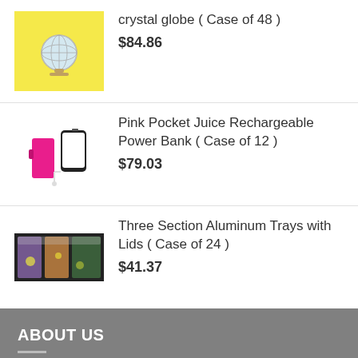[Figure (photo): Product image of crystal globe on yellow background]
crystal globe ( Case of 48 )
$84.86
[Figure (photo): Product image of pink power bank with phone]
Pink Pocket Juice Rechargeable Power Bank ( Case of 12 )
$79.03
[Figure (photo): Product image of three section aluminum trays with lids]
Three Section Aluminum Trays with Lids ( Case of 24 )
$41.37
ABOUT US
AwesomeDecors.com always brings amazing products to its customers to help them improve their lifestyle. We believe in the phrase “home sweet home” hence, we have got household items that can change the outlook of your home